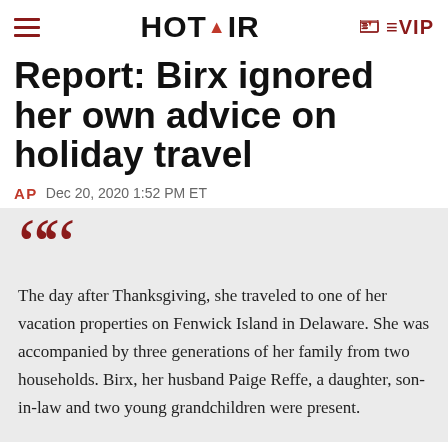HOT AIR  VIP
Report: Birx ignored her own advice on holiday travel
AP  Dec 20, 2020 1:52 PM ET
The day after Thanksgiving, she traveled to one of her vacation properties on Fenwick Island in Delaware. She was accompanied by three generations of her family from two households. Birx, her husband Paige Reffe, a daughter, son-in-law and two young grandchildren were present.